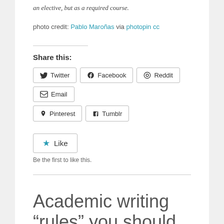an elective, but as a required course.
photo credit: Pablo Maroñas via photopin cc
Share this:
Twitter  Facebook  Reddit  Email  Pinterest  Tumblr
Like  Be the first to like this.
Academic writing “rules” you should break